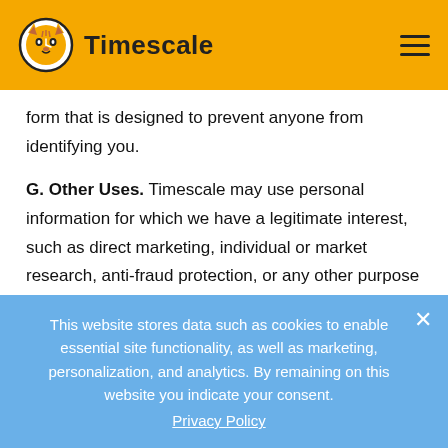Timescale
form that is designed to prevent anyone from identifying you.
G. Other Uses. Timescale may use personal information for which we have a legitimate interest, such as direct marketing, individual or market research, anti-fraud protection, or any other purpose disclosed to you at
This website stores data such as cookies to enable essential site functionality, as well as marketing, personalization, and analytics. By remaining on this website you indicate your consent.
Privacy Policy